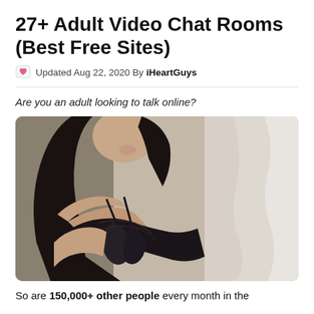27+ Adult Video Chat Rooms (Best Free Sites)
Updated Aug 22, 2020 By iHeartGuys
Are you an adult looking to talk online?
[Figure (photo): Woman with dark hair wearing black lingerie, posed near a window with white curtains]
So are 150,000+ other people every month in the